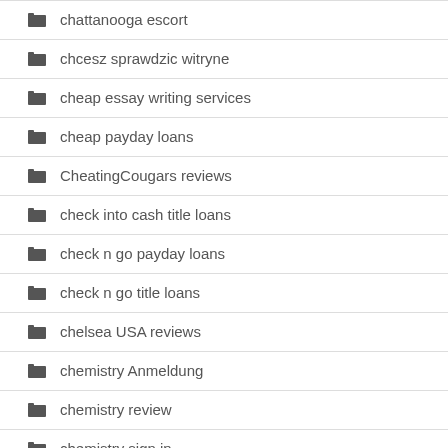chattanooga escort
chcesz sprawdzic witryne
cheap essay writing services
cheap payday loans
CheatingCougars reviews
check into cash title loans
check n go payday loans
check n go title loans
chelsea USA reviews
chemistry Anmeldung
chemistry review
chemistry sign in